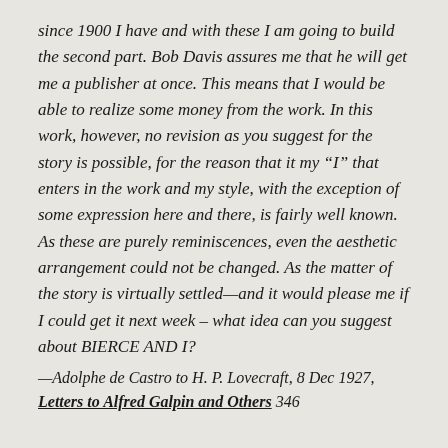since 1900 I have and with these I am going to build the second part. Bob Davis assures me that he will get me a publisher at once. This means that I would be able to realize some money from the work. In this work, however, no revision as you suggest for the story is possible, for the reason that it my “I” that enters in the work and my style, with the exception of some expression here and there, is fairly well known. As these are purely reminiscences, even the aesthetic arrangement could not be changed. As the matter of the story is virtually settled—and it would please me if I could get it next week – what idea can you suggest about BIERCE AND I?
—Adolphe de Castro to H. P. Lovecraft, 8 Dec 1927, Letters to Alfred Galpin and Others 346